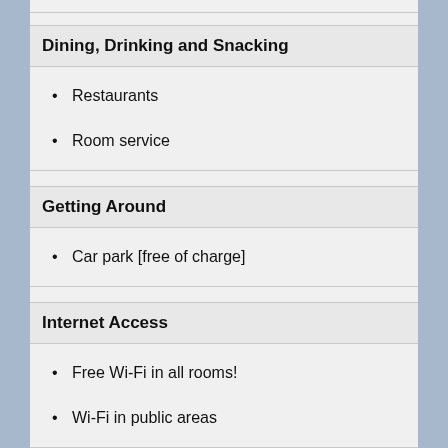Dining, Drinking and Snacking
Restaurants
Room service
Getting Around
Car park [free of charge]
Internet Access
Free Wi-Fi in all rooms!
Wi-Fi in public areas